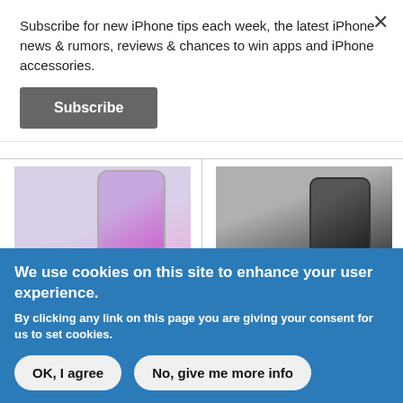Subscribe for new iPhone tips each week, the latest iPhone news & rumors, reviews & chances to win apps and iPhone accessories.
Subscribe
[Figure (photo): Partial view of Apple iPhone 11 64GB Purple smartphone]
Apple iPhone 11, 64GB, Purple - Fully Unlocked (Renewed)
$339.00
[Figure (photo): Partial view of Apple iPhone XR 64GB Black smartphone]
Apple iPhone XR, 64GB, Black - Unlocked (Renewed)
$233.00
We use cookies on this site to enhance your user experience.
By clicking any link on this page you are giving your consent for us to set cookies.
OK, I agree
No, give me more info